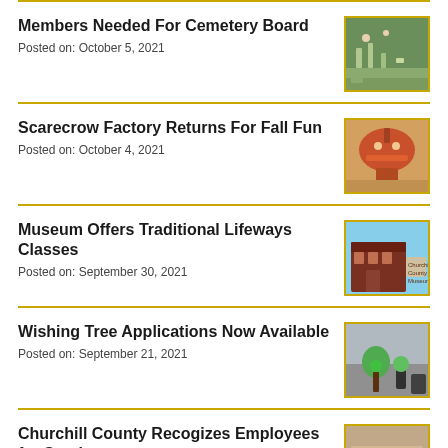Members Needed For Cemetery Board
Posted on: October 5, 2021
Scarecrow Factory Returns For Fall Fun
Posted on: October 4, 2021
Museum Offers Traditional Lifeways Classes
Posted on: September 30, 2021
Wishing Tree Applications Now Available
Posted on: September 21, 2021
Churchill County Recogizes Employees for Service
Posted on: September 15, 2021